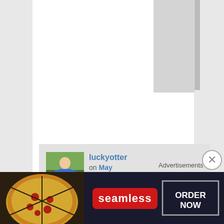Liked by 1 person
luckyotter on May 25, 2015 at 2:14 pm said:
You'll pick it up. You can find the widgets in your dashboard, I recommend either
[Figure (screenshot): Advertisement banner for Seamless food ordering service showing pizza image on left, Seamless logo in red badge center, and ORDER NOW button in bordered box on right, on dark background]
Advertisements